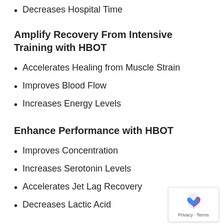Decreases Hospital Time
Amplify Recovery From Intensive Training with HBOT
Accelerates Healing from Muscle Strain
Improves Blood Flow
Increases Energy Levels
Enhance Performance with HBOT
Improves Concentration
Increases Serotonin Levels
Accelerates Jet Lag Recovery
Decreases Lactic Acid